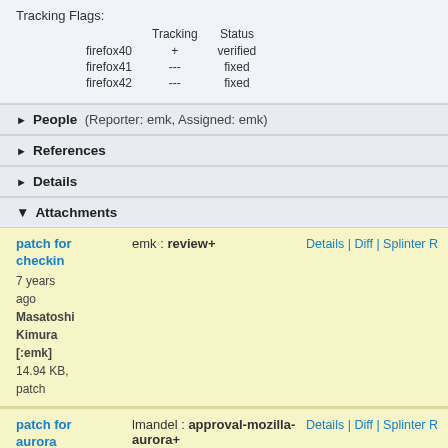|  | Tracking | Status |
| --- | --- | --- |
| firefox40 | + | verified |
| firefox41 | --- | fixed |
| firefox42 | --- | fixed |
▶ People (Reporter: emk, Assigned: emk)
▶ References
▶ Details
▼ Attachments
patch for checkin | emk : review+ | Details | Diff | Splinter R | 7 years ago | Masatoshi Kimura [:emk] | 14.94 KB, patch
patch for aurora | lmandel : approval-mozilla-aurora+ | Details | Diff | Splinter R | 7 years ago | Masatoshi